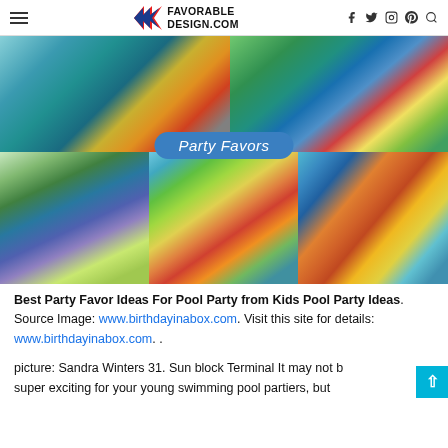FAVORABLE DESIGN.COM
[Figure (photo): Collage of pool party favor photos with 'Party Favors' label overlay. Top row: two photos of party favor bags/items including teal/colorful bags, swimming goggles, and pool toys. Bottom row: three photos showing gift bags with tags, green water gun toys with 'Please Take One' sign, and bucket with pool toys.]
Best Party Favor Ideas For Pool Party from Kids Pool Party Ideas. Source Image: www.birthdayinabox.com. Visit this site for details: www.birthdayinabox.com. .
picture: Sandra Winters 31. Sun block Terminal It may not be super exciting for your young swimming pool partiers, but